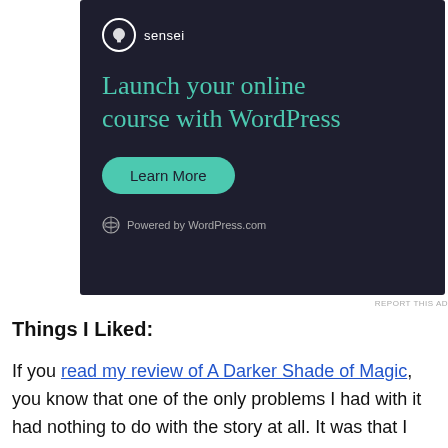[Figure (screenshot): Advertisement for Sensei plugin: dark navy background with Sensei logo (tree icon in circle), headline 'Launch your online course with WordPress' in teal, green 'Learn More' button, and 'Powered by WordPress.com' footer.]
REPORT THIS AD
Things I Liked:
If you read my review of A Darker Shade of Magic, you know that one of the only problems I had with it had nothing to do with the story at all. It was that I was listening to it on audiobook (something I didn't expect to like, but ended up loving!), and the narrator,